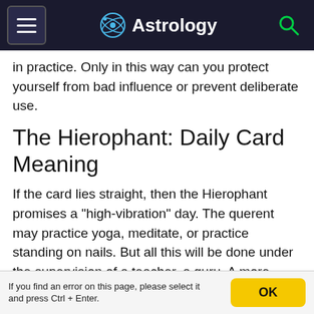Astrology
in practice. Only in this way can you protect yourself from bad influence or prevent deliberate use.
The Hierophant: Daily Card Meaning
If the card lies straight, then the Hierophant promises a "high-vibration" day. The querent may practice yoga, meditate, or practice standing on nails. But all this will be done under the supervision of a teacher, a guru. A more experienced person will help prevent fundamental mistakes. Sometimes the card of the day will simply show a visit to an ashram, a mosque, a house of prayer. Today, the fortuneteller will feel the need to pour out his soul. He will think about his own life and try to fix something. There will be a desire to make important adjustments, to adhere to the rules, restrictions. But all this will only be for the
If you find an error on this page, please select it and press Ctrl + Enter.